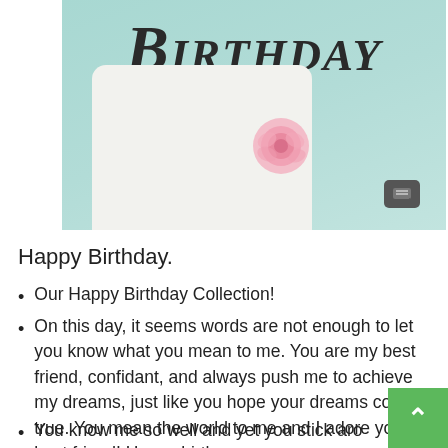[Figure (photo): Birthday photo showing a white cup/mug with 'Birthday' written in decorative text, a pink rose, on a teal/mint wooden surface background]
Happy Birthday.
Our Happy Birthday Collection!
On this day, it seems words are not enough to let you know what you mean to me. You are my best friend, confidant, and always push me to achieve my dreams, just like you hope your dreams come true. You mean the world to me and I adore you, best friend! Happy birthday (truncated)
You know me so well and yet you stick around. You are either a sensational friend or a little (truncated)